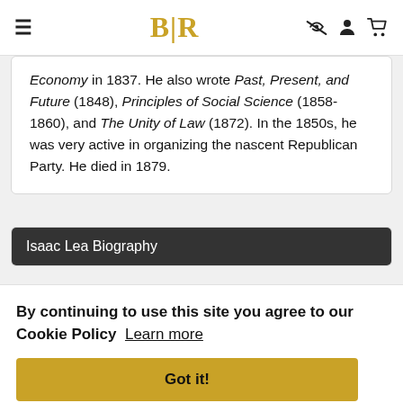BLR (logo navigation bar with hamburger menu, eye icon, person icon, cart icon)
Economy in 1837. He also wrote Past, Present, and Future (1848), Principles of Social Science (1858-1860), and The Unity of Law (1872). In the 1850s, he was very active in organizing the nascent Republican Party. He died in 1879.
Isaac Lea Biography
By continuing to use this site you agree to our Cookie Policy  Learn more
Got it!
Lea became a junior partner of Carey & Son in